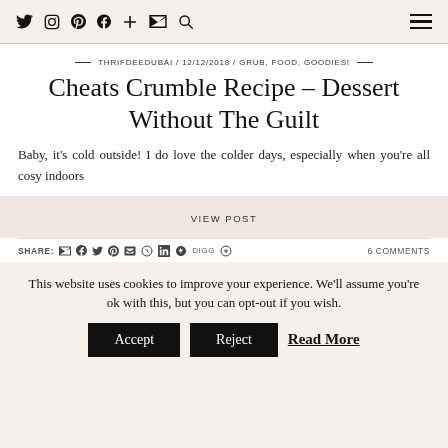Navigation bar with social icons (Twitter, Instagram, Pinterest, Facebook, Plus, Email, Search) and hamburger menu
THRIFDEEDUBAI / 12/12/2018 / GRUB, FOOD, GOODIES!
Cheats Crumble Recipe – Dessert Without The Guilt
Baby, it's cold outside! I do love the colder days, especially when you're all cosy indoors
VIEW POST
SHARE: [icons] 6 COMMENTS
This website uses cookies to improve your experience. We'll assume you're ok with this, but you can opt-out if you wish.
Accept | Reject | Read More